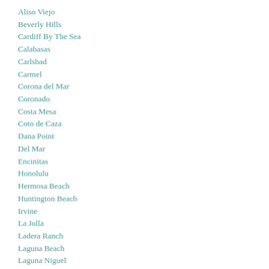Aliso Viejo
Beverly Hills
Cardiff By The Sea
Calabasas
Carlsbad
Carmel
Corona del Mar
Coronado
Costa Mesa
Coto de Caza
Dana Point
Del Mar
Encinitas
Honolulu
Hermosa Beach
Huntington Beach
Irvine
La Jolla
Ladera Ranch
Laguna Beach
Laguna Niguel
Long Beach
Marina Del Rey
Malibu
Manhattan Beach
Monarch Beach
Newport Beach
Newport Coast